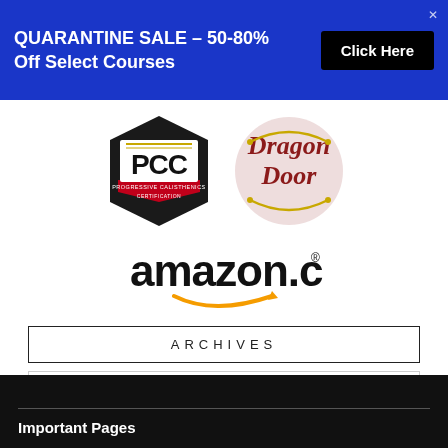QUARANTINE SALE – 50-80% Off Select Courses
Click Here
[Figure (logo): PCC Progressive Calisthenics Certification logo and Dragon Door logo side by side]
[Figure (logo): amazon.com logo with orange smile arrow]
ARCHIVES
Select Month
Important Pages